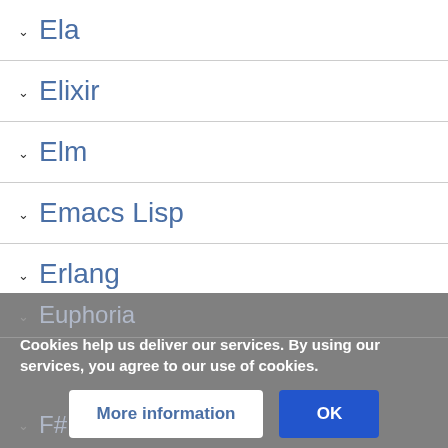Ela
Elixir
Elm
Emacs Lisp
Erlang
Euphoria
F#
Cookies help us deliver our services. By using our services, you agree to our use of cookies.
More information
OK